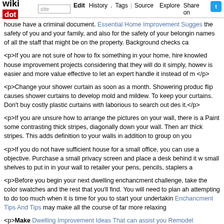wikidot | site | Edit | History | Tags | Source | Explore | Share on [Twitter]
house have a criminal document. Essential Home Improvement Sugges... the safety of you and your family, and also for the safety of your belongin... names of all the staff that might be on the property. Background checks ca...
<p>If you are not sure of how to fix something in your home, hire knowled... house improvement projects considering that they will do it simply, howev... is easier and more value effective to let an expert handle it instead of m... </p>
<p>Change your shower curtain as soon as a month. Showering produc... flip causes shower curtains to develop mold and mildew. To keep your ... curtains. Don't buy costly plastic curtains with laborious to search out des... it.</p>
<p>If you are unsure how to arrange the pictures on your wall, there is a... Paint some contrasting thick stripes, diagonally down your wall. Then arr... thick stripes. This adds definition to your walls in addition to group on you...
<p>If you do not have sufficient house for a small office, you can use a... objective. Purchase a small privacy screen and place a desk behind it w... small shelves to put in in your wall to retailer your pens, pencils, staplers a...
<p>Before you begin your next dwelling enchancment challenge, take the... color swatches and the rest that you'll find. You will need to plan ah... attempting to do too much when it is time for you to start your undertaking... Enchancment Tips And Tips may make all the course of far more relaxing...
<p>Make Dwelling Improvement Ideas That can assist you Remodel... remodeling your basement that you have kept in thoughts heating, coolin...